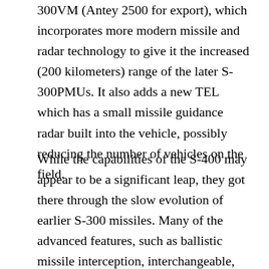300VM (Antey 2500 for export), which incorporates more modern missile and radar technology to give it the increased (200 kilometers) range of the later S-300PMUs. It also adds a new TEL which has a small missile guidance radar built into the vehicle, possibly reducing the number of vehicles on the field.
While the capabilities of the S-400 may appear to be a significant leap, they got there through the slow evolution of earlier S-300 missiles. Many of the advanced features, such as ballistic missile interception, interchangeable, modular missiles and multichannel engagement have been present in the system for a long time, and the S-400 just